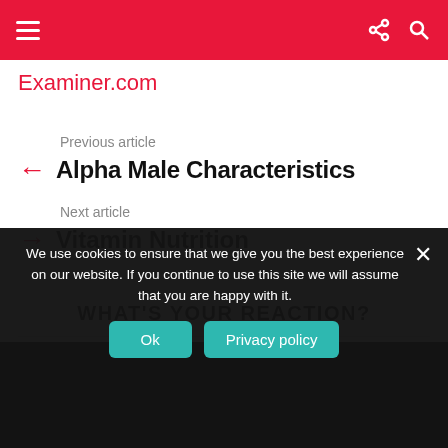Examiner.com
Previous article
Alpha Male Characteristics
Next article
Vitamin Nutrition
WHAT'S YOUR REACTION?
We use cookies to ensure that we give you the best experience on our website. If you continue to use this site we will assume that you are happy with it.